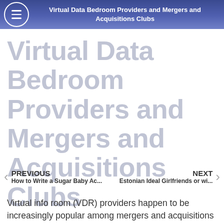Virtual Data Bedroom Providers and Mergers and Acquisitions Clubs
Virtual Data Bedroom Providers and Mergers and Acquisitions Clubs
PREVIOUS
How to Write a Sugar Baby Ac...
NEXT
Estonian Ideal Girlfriends or wi...
Virtual info room (VDR) providers happen to be increasingly popular among mergers and acquisitions teams. The cloud-based service shops files within a